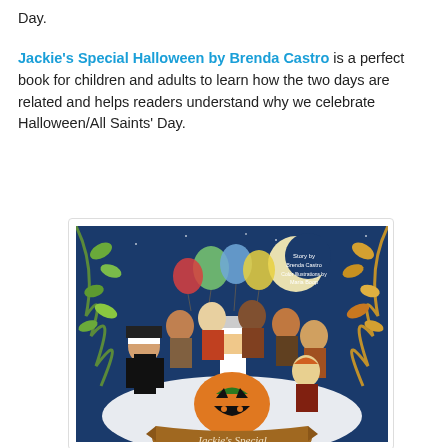Day.
Jackie's Special Halloween by Brenda Castro is a perfect book for children and adults to learn how the two days are related and helps readers understand why we celebrate Halloween/All Saints' Day.
[Figure (illustration): Book cover of 'Jackie's Special Halloween' by Brenda Castro, illustrated by Maria Boop. Shows cartoon children in costumes including nuns and saints around a jack-o-lantern pumpkin, with balloons and a crescent moon on a blue night sky background, autumn leaves on sides, and a banner reading 'Jackie's Special' at the bottom.]